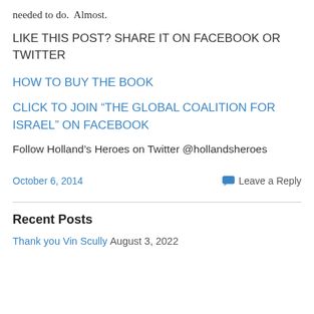needed to do.  Almost.
LIKE THIS POST? SHARE IT ON FACEBOOK OR TWITTER
HOW TO BUY THE BOOK
CLICK TO JOIN “THE GLOBAL COALITION FOR ISRAEL” ON FACEBOOK
Follow Holland’s Heroes on Twitter @hollandsheroes
October 6, 2014
Leave a Reply
Recent Posts
Thank you Vin Scully August 3, 2022